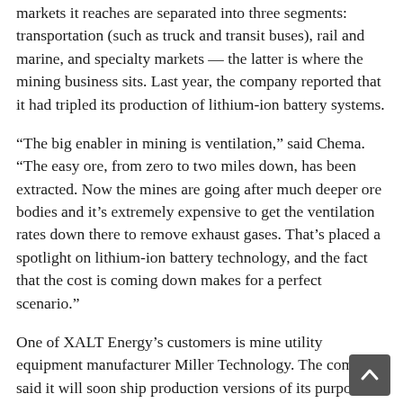markets it reaches are separated into three segments: transportation (such as truck and transit buses), rail and marine, and specialty markets — the latter is where the mining business sits. Last year, the company reported that it had tripled its production of lithium-ion battery systems.
“The big enabler in mining is ventilation,” said Chema. “The easy ore, from zero to two miles down, has been extracted. Now the mines are going after much deeper ore bodies and it’s extremely expensive to get the ventilation rates down there to remove exhaust gases. That’s placed a spotlight on lithium-ion battery technology, and the fact that the cost is coming down makes for a perfect scenario.”
One of XALT Energy’s customers is mine utility equipment manufacturer Miller Technology. The company said it will soon ship production versions of its purpose-built battery-electric Miller Relay it truck introduced last year. Using the same scalable Ionic Drive system used in the truck, the company also offers